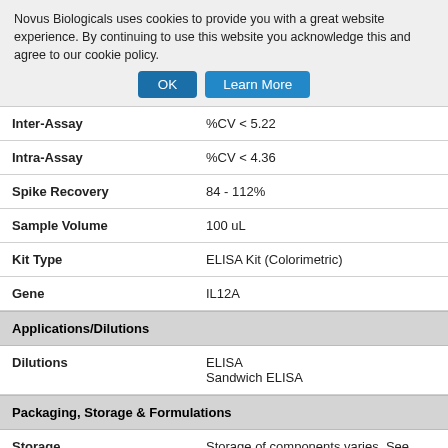Novus Biologicals uses cookies to provide you with a great website experience. By continuing to use this website you acknowledge this and agree to our cookie policy.
| Property | Value |
| --- | --- |
| Inter-Assay | %CV < 5.22 |
| Intra-Assay | %CV < 4.36 |
| Spike Recovery | 84 - 112% |
| Sample Volume | 100 uL |
| Kit Type | ELISA Kit (Colorimetric) |
| Gene | IL12A |
Applications/Dilutions
| Property | Value |
| --- | --- |
| Dilutions | ELISA
Sandwich ELISA |
Packaging, Storage & Formulations
| Property | Value |
| --- | --- |
| Storage | Storage of components varies. See protocol instructions. |
Kit Components